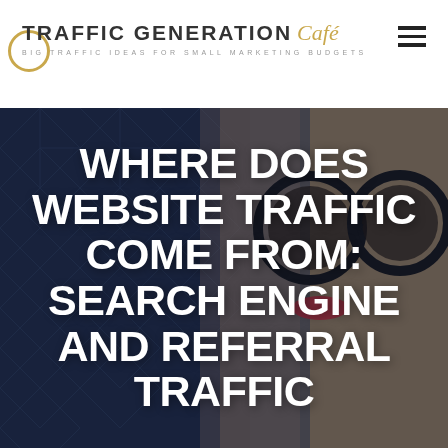TRAFFIC GENERATION Café — BIG TRAFFIC IDEAS FOR SMALL MARKETING BUDGETS
[Figure (photo): Hero image of a stylish blonde woman with round black glasses against a dark quilted background, with large white bold text overlay]
WHERE DOES WEBSITE TRAFFIC COME FROM: SEARCH ENGINE AND REFERRAL TRAFFIC